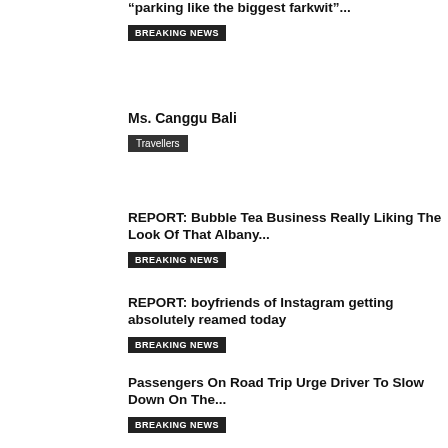“parking like the biggest farkwit”...
BREAKING NEWS
Ms. Canggu Bali
Travellers
REPORT: Bubble Tea Business Really Liking The Look Of That Albany...
BREAKING NEWS
REPORT: boyfriends of Instagram getting absolutely reamed today
BREAKING NEWS
Passengers On Road Trip Urge Driver To Slow Down On The...
BREAKING NEWS